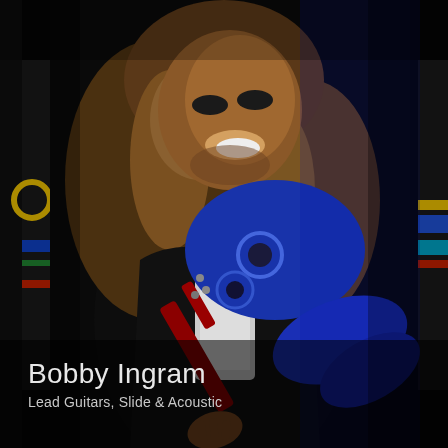[Figure (photo): Concert photo of Bobby Ingram, a male guitarist with long wavy blond hair, smiling broadly, wearing a black vest over a blue-circle-print shirt and white undershirt, holding a red electric guitar. The background is dark/black with colorful signage visible on the left and right edges. Blue stage lighting illuminates the subject.]
Bobby Ingram
Lead Guitars, Slide & Acoustic